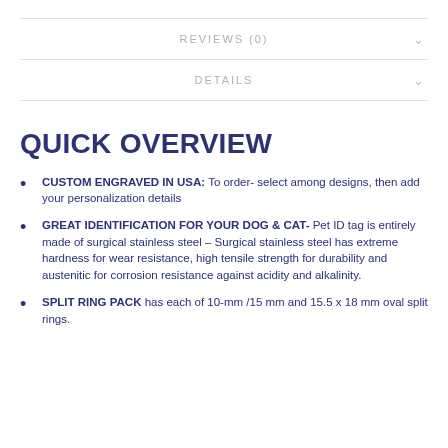REVIEWS (0)
DETAILS
QUICK OVERVIEW
CUSTOM ENGRAVED IN USA: To order- select among designs, then add your personalization details
GREAT IDENTIFICATION FOR YOUR DOG & CAT- Pet ID tag is entirely made of surgical stainless steel – Surgical stainless steel has extreme hardness for wear resistance, high tensile strength for durability and austenitic for corrosion resistance against acidity and alkalinity.
SPLIT RING PACK has each of 10-mm /15 mm and 15.5 x 18 mm oval split rings.